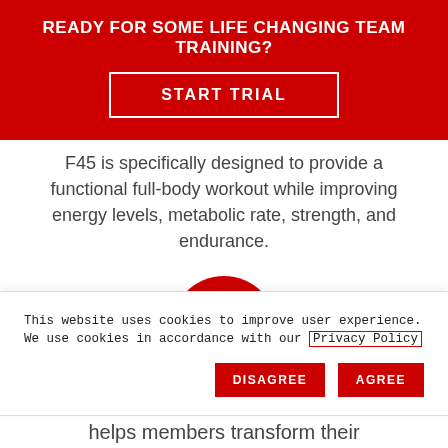READY FOR SOME LIFE CHANGING TEAM TRAINING?
START TRIAL
F45 is specifically designed to provide a functional full-body workout while improving energy levels, metabolic rate, strength, and endurance.
[Figure (illustration): Red circle icon with a chain link symbol in white]
This website uses cookies to improve user experience. We use cookies in accordance with our Privacy Policy
helps members transform their